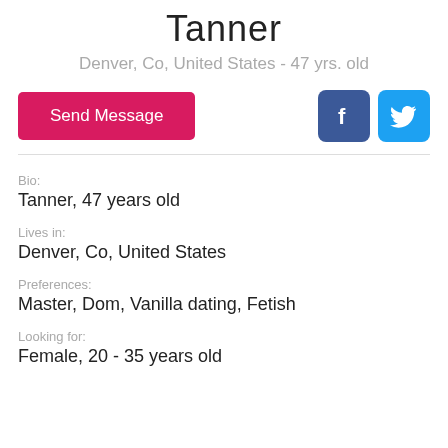Tanner
Denver, Co, United States - 47 yrs. old
Send Message
[Figure (illustration): Facebook and Twitter social media icon buttons]
Bio:
Tanner, 47 years old
Lives in:
Denver, Co, United States
Preferences:
Master, Dom, Vanilla dating, Fetish
Looking for:
Female, 20 - 35 years old